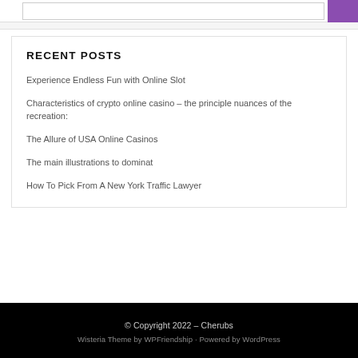RECENT POSTS
Experience Endless Fun with Online Slot
Characteristics of crypto online casino – the principle nuances of the recreation:
The Allure of USA Online Casinos
The main illustrations to dominat
How To Pick From A New York Traffic Lawyer
© Copyright 2022 – Cherubs
Wisteria Theme by WPFriendship · Powered by WordPress